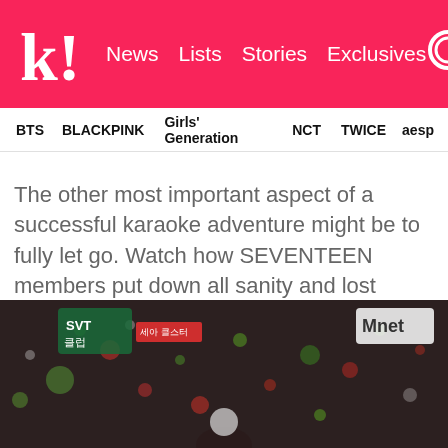Koreaboo — News | Lists | Stories | Exclusives
BTS | BLACKPINK | Girls' Generation | NCT | TWICE | aespa
The other most important aspect of a successful karaoke adventure might be to fully let go. Watch how SEVENTEEN members put down all sanity and lost themselves in the music and the moment. Be sure to hype up and always include that one lower-energy-level teammate…
[Figure (screenshot): Video still from SVT (SEVENTEEN) Mnet broadcast showing karaoke scene with colorful bokeh lights in a dark room.]